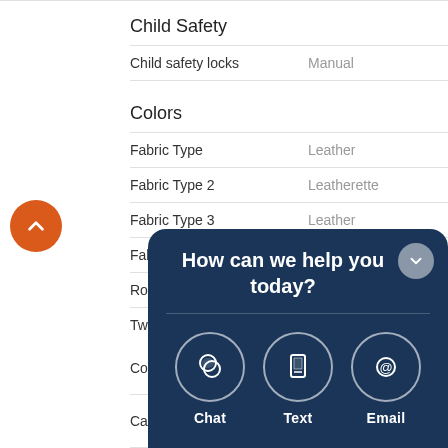Child Safety
| Feature | Value |
| --- | --- |
| Child safety locks | Manual |
Colors
| Feature | Value |
| --- | --- |
| Fabric Type | Leather |
| Fabric Type 2 | Leatherette |
| Fabric Type 3 | Leather |
| Fabric Type 4 | Carpet |
| Roof type | Fixed roof |
| Two-Tone | Two-Tone |
[Figure (screenshot): Chat overlay widget with dark navy background showing 'How can we help you today?' and three options: Chat, Text, Email with icons]